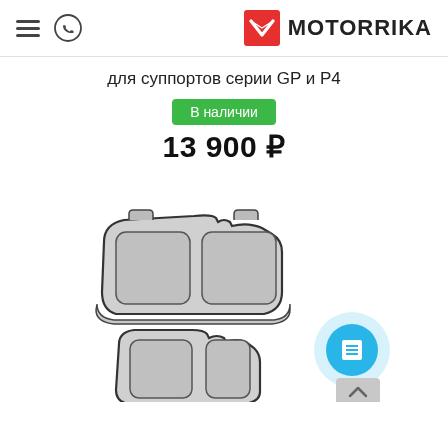MOTORRIKA — header with navigation
для суппортов серии GP и Р4
В наличии
13 900 ₽
[Figure (illustration): Product image: two sets of brake pads shown from above. Top set shows two brake pads side by side with rounded rectangular friction surfaces. Bottom set partially visible. Drawing style with outlined shapes and light gray fill. Chat button (blue circle with document/list icon) and scroll-to-top button visible at bottom right.]